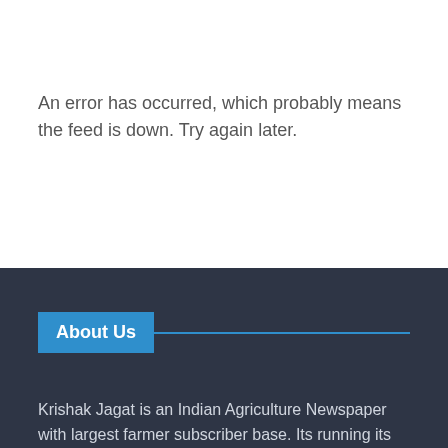An error has occurred, which probably means the feed is down. Try again later.
About Us
Krishak Jagat is an Indian Agriculture Newspaper with largest farmer subscriber base. Its running its 74th Year of